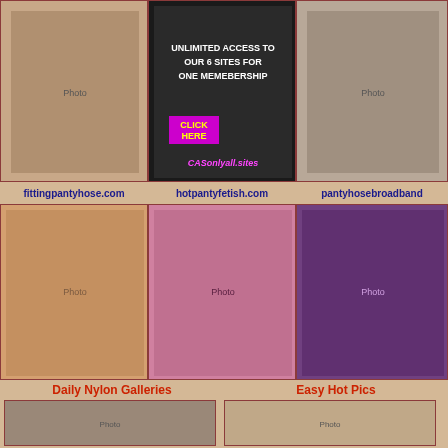[Figure (photo): Three photos in top row: woman in hosiery, advertisement banner for membership site, woman in stockings]
fittingpantyhose.com   hotpantyfetish.com   pantyhosebroadband
[Figure (photo): Three photos in middle row: close-up legs in pantyhose, woman in office attire, woman in lace underwear]
Daily Nylon Galleries   Easy Hot Pics
[Figure (photo): Two partial photos in bottom row]